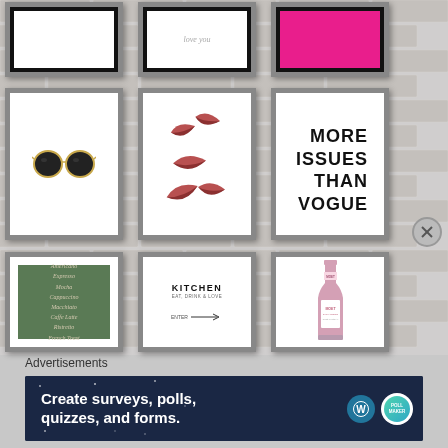[Figure (photo): Gallery wall with 9 framed art prints on a white brick background. Top row (partial): blank white print, cursive text print, hot pink print. Middle row: sunglasses illustration, kissing lips illustration, 'MORE ISSUES THAN VOGUE' typography print. Bottom row (partial): green coffee menu print listing Americano, Expresso, Mocha, Cappuccino, Macchiato, Caffe Latte, Ristretto, French Toast; Kitchen typography print with arrow; pink champagne bottle illustration.]
Advertisements
[Figure (screenshot): Advertisement banner with dark navy background reading 'Create surveys, polls, quizzes, and forms.' with WordPress logo and a teal/green circular logo on the right.]